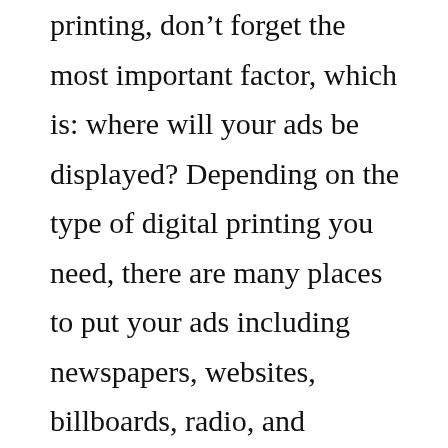printing, don't forget the most important factor, which is: where will your ads be displayed? Depending on the type of digital printing you need, there are many places to put your ads including newspapers, websites, billboards, radio, and television, etc. You can get an idea of how much each place will cost by doing a little research, or asking around with local businesses in your area. Don't let price be the only determining factor, however, as you will also want to consider the overall quality of your prints and whether or not they